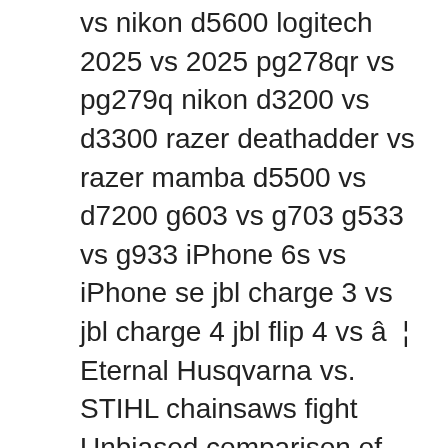vs nikon d5600 logitech 2025 vs 2025 pg278qr vs pg279q nikon d3200 vs d3300 razer deathadder vs razer mamba d5500 vs d7200 g603 vs g703 g533 vs g933 iPhone 6s vs iPhone se jbl charge 3 vs jbl charge 4 jbl flip 4 vs â¦ Eternal Husqvarna vs. STIHL chainsaws fight Unbiased comparison of Echo CS-330T and STIHL MS 192 T gasoline chainsaws Poulan PLN1514 vs STIHL MSE 170 C-BQ vs Homelite 14 in. Compare the characteristics of each product and make your choice. Comparison of Stihl MS-251 C-BE VS Husqvarna 435 chainsaws. Compare the characteristics of each product and make your choice. HUSQVARNA 3120 XP vs STIHL MS 880 MAGNUM â Husqvarna vs STIHL These are the absolute best & most powerful chainsaws by each brand. In this article, we decided to focus on a Stihl vs Husqvarna brand comparison. It is nearly impossible to lose as long as you stick with this